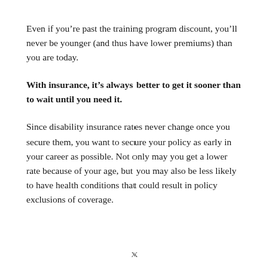Even if you're past the training program discount, you'll never be younger (and thus have lower premiums) than you are today.
With insurance, it's always better to get it sooner than to wait until you need it.
Since disability insurance rates never change once you secure them, you want to secure your policy as early in your career as possible. Not only may you get a lower rate because of your age, but you may also be less likely to have health conditions that could result in policy exclusions of coverage.
X